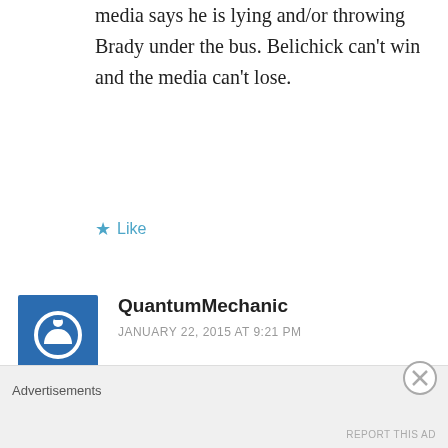media says he is lying and/or throwing Brady under the bus. Belichick can't win and the media can't lose.
Like
QuantumMechanic
JANUARY 22, 2015 AT 9:21 PM
Curran smokes one long and deep...
http://www.csnne.com/new-england-patriots/curran-time-nfl-stop-deflategate-madness
Advertisements
REPORT THIS AD